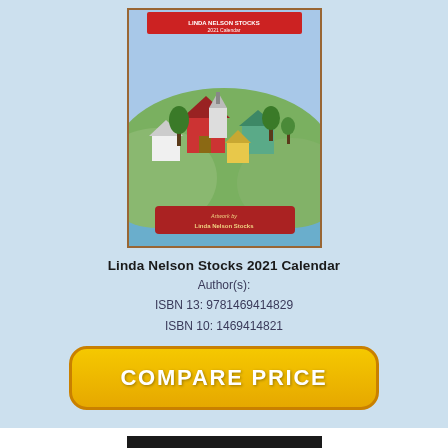[Figure (illustration): Book cover for Linda Nelson Stocks 2021 Calendar showing a colorful illustrated coastal village scene with houses, trees, and water]
Linda Nelson Stocks 2021 Calendar
Author(s):
ISBN 13: 9781469414829
ISBN 10: 1469414821
[Figure (other): COMPARE PRICE button - yellow/gold rounded rectangle button with white bold text]
[Figure (photo): Book cover for Linda McCartney showing a person sitting in a dark chair, dark moody photograph]